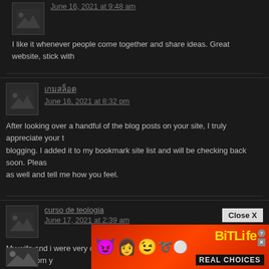June 16, 2021 at 9:48 am
I like it whenever people come together and share ideas. Great website, stick with
เกมสล็อต
June 16, 2021 at 8:32 pm
After looking over a handful of the blog posts on your site, I truly appreciate your blogging. I added it to my bookmark site list and will be checking back soon. Please as well and tell me how you feel.
curso de teologia
June 17, 2021 at 2:39 am
My wife and i were very comfortable when Albert could deal with his inquiry from y recommendations he acquired out of your web pages. It is now and again perplex to be offering guidelines which often other people could have been selling. We rea have got the blog owner to appreciate for this. The illustrations you've made, the e navigation, the relationships you make it possible to create – it's got many fantasti our son and our family do think that theme is satisfying, which is only really se everything!
[Figure (infographic): BitLife REAL CHOICES advertisement banner with colorful cartoon characters on red background]